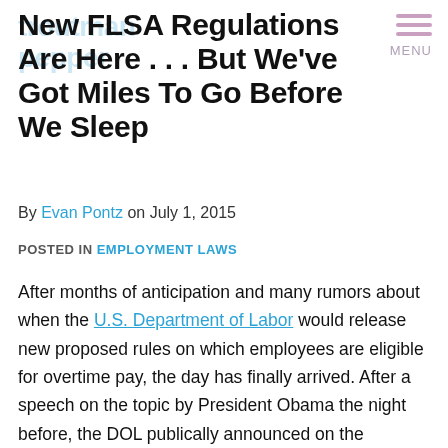New FLSA Regulations Are Here . . . But We've Got Miles To Go Before We Sleep
By Evan Pontz on July 1, 2015
POSTED IN EMPLOYMENT LAWS
After months of anticipation and many rumors about when the U.S. Department of Labor would release new proposed rules on which employees are eligible for overtime pay, the day has finally arrived. After a speech on the topic by President Obama the night before, the DOL publically announced on the morning of June 30th its proposed regulations, thereby starting the process necessary for the regulations to take effect. HR pros need to